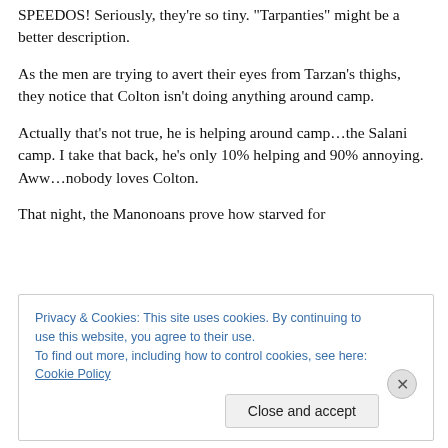SPEEDOS! Seriously, they're so tiny. "Tarpanties" might be a better description.
As the men are trying to avert their eyes from Tarzan's thighs, they notice that Colton isn't doing anything around camp.
Actually that's not true, he is helping around camp…the Salani camp. I take that back, he's only 10% helping and 90% annoying. Aww…nobody loves Colton.
That night, the Manonoans prove how starved for
Privacy & Cookies: This site uses cookies. By continuing to use this website, you agree to their use.
To find out more, including how to control cookies, see here: Cookie Policy
Close and accept